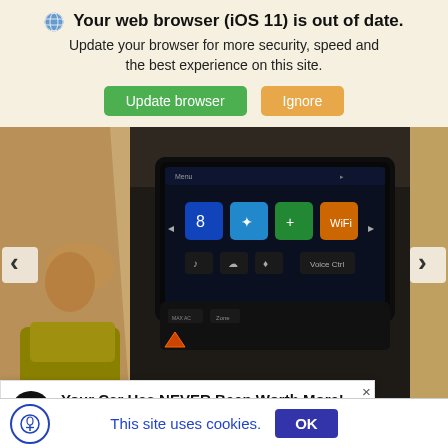🌐 Your web browser (iOS 11) is out of date. Update your browser for more security, speed and the best experience on this site.
Update browser | Ignore
[Figure (photo): Car interior showing infotainment touchscreen display with colorful app icons, with navigation arrows on left and right sides]
Your Car Has NEVER Been Worth More! Sell or Trade Your Car Today.
This site uses cookies. OK